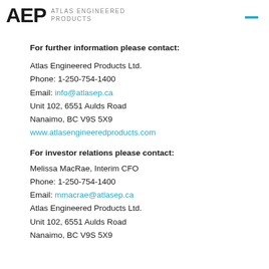[Figure (logo): AEP Atlas Engineered Products logo with bold AEP letters and company name text, with teal dash menu icon in top right]
For further information please contact:
Atlas Engineered Products Ltd.
Phone: 1-250-754-1400
Email: info@atlasep.ca
Unit 102, 6551 Aulds Road
Nanaimo, BC V9S 5X9
www.atlasengineeredproducts.com
For investor relations please contact:
Melissa MacRae, Interim CFO
Phone: 1-250-754-1400
Email: mmacrae@atlasep.ca
Atlas Engineered Products Ltd.
Unit 102, 6551 Aulds Road
Nanaimo, BC V9S 5X9